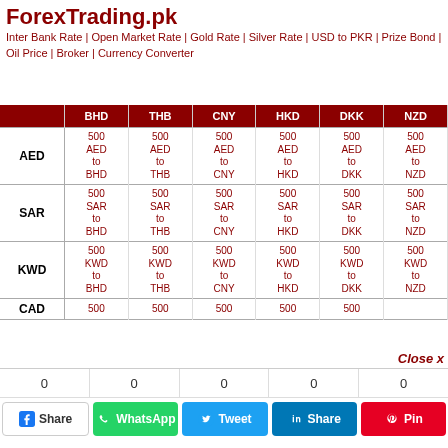ForexTrading.pk
Inter Bank Rate | Open Market Rate | Gold Rate | Silver Rate | USD to PKR | Prize Bond | Oil Price | Broker | Currency Converter
|  | BHD | THB | CNY | HKD | DKK | NZD |
| --- | --- | --- | --- | --- | --- | --- |
| AED | 500 AED to BHD | 500 AED to THB | 500 AED to CNY | 500 AED to HKD | 500 AED to DKK | 500 AED to NZD |
| SAR | 500 SAR to BHD | 500 SAR to THB | 500 SAR to CNY | 500 SAR to HKD | 500 SAR to DKK | 500 SAR to NZD |
| KWD | 500 KWD to BHD | 500 KWD to THB | 500 KWD to CNY | 500 KWD to HKD | 500 KWD to DKK | 500 KWD to NZD |
| CAD | 500 | 500 | 500 | 500 | 500 | … |